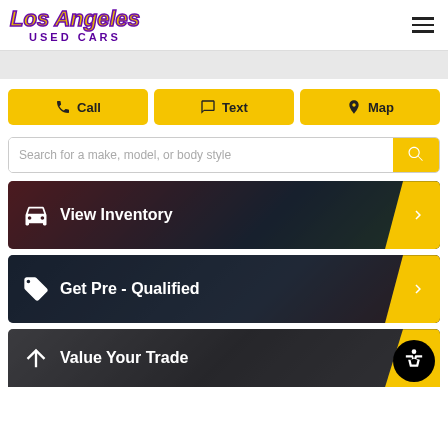[Figure (screenshot): Los Angeles Used Cars website header with logo and hamburger menu]
[Figure (screenshot): Three yellow CTA buttons: Call, Text, Map]
[Figure (screenshot): Search bar with placeholder 'Search for a make, model, or body style' and yellow search button]
[Figure (screenshot): View Inventory menu card with car icon and yellow arrow]
[Figure (screenshot): Get Pre-Qualified menu card with tag icon and yellow arrow]
[Figure (screenshot): Value Your Trade menu card with up arrow icon and accessibility icon]